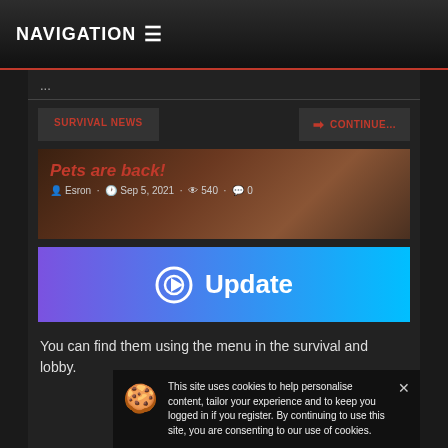NAVIGATION ≡
...
SURVIVAL NEWS
➜ CONTINUE...
Pets are back!
Esron · Sep 5, 2021 · 540 · 0
[Figure (screenshot): Update banner with gradient blue-purple background, gear/play icon and text 'Update']
You can find them using the menu in the survival and lobby.
This site uses cookies to help personalise content, tailor your experience and to keep you logged in if you register. By continuing to use this site, you are consenting to our use of cookies.